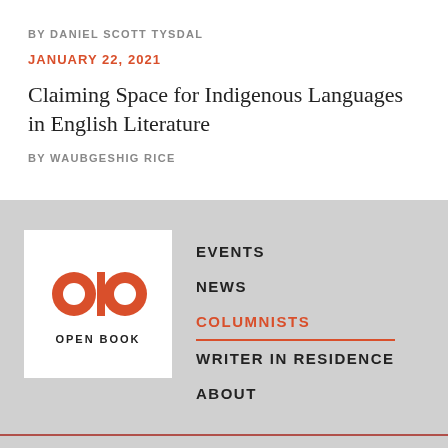BY DANIEL SCOTT TYSDAL
JANUARY 22, 2021
Claiming Space for Indigenous Languages in English Literature
BY WAUBGESHIG RICE
[Figure (logo): Open Book logo: red stylized 'obo' letters above text 'OPEN BOOK' on white background]
EVENTS
NEWS
COLUMNISTS
WRITER IN RESIDENCE
ABOUT